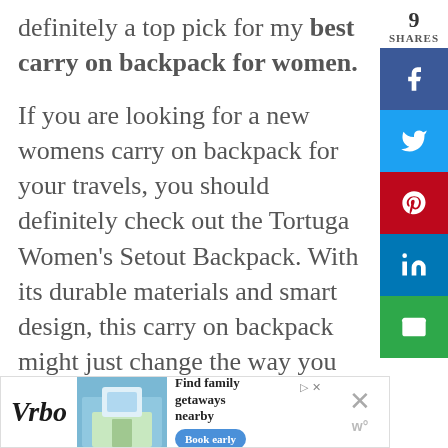definitely a top pick for my best carry on backpack for women.
If you are looking for a new womens carry on backpack for your travels, you should definitely check out the Tortuga Women's Setout Backpack. With its durable materials and smart design, this carry on backpack might just change the way you travel.
Learn More & See Prices For Tortuga Backpacks
[Figure (other): Social share sidebar with 9 shares count and buttons for Facebook, Twitter, Pinterest, LinkedIn, and Email]
[Figure (other): Vrbo advertisement banner: Find family getaways nearby, with Book early button]